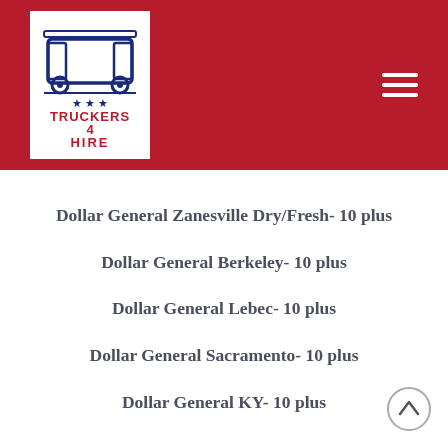[Figure (logo): Truckers 4 Hire logo: blue truck graphic with white shield background, red text reading TRUCKERS 4 HIRE with stars]
Dollar General Zanesville Dry/Fresh- 10 plus
Dollar General Berkeley- 10 plus
Dollar General Lebec- 10 plus
Dollar General Sacramento- 10 plus
Dollar General KY- 10 plus